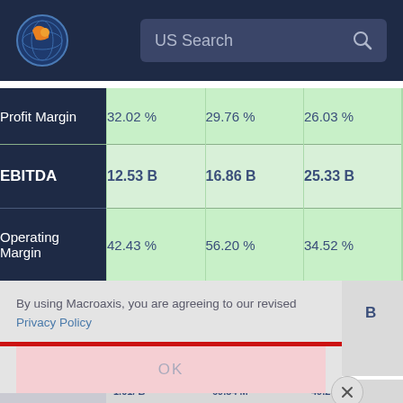[Figure (screenshot): Macroaxis website header with globe logo and US Search bar on dark navy background]
|  | Col1 | Col2 | Col3 |
| --- | --- | --- | --- |
| Profit Margin | 32.02 % | 29.76 % | 26.03 % |
| EBITDA | 12.53 B | 16.86 B | 25.33 B |
| Operating Margin | 42.43 % | 56.20 % | 34.52 % |
By using Macroaxis, you are agreeing to our revised Privacy Policy
OK